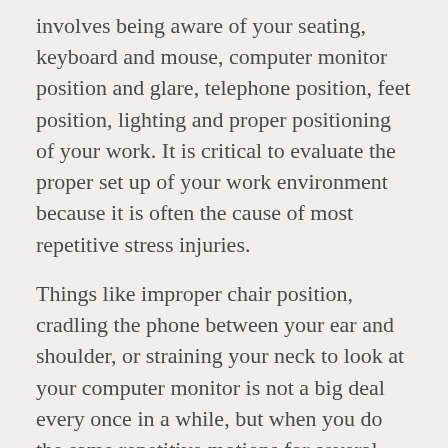involves being aware of your seating, keyboard and mouse, computer monitor position and glare, telephone position, feet position, lighting and proper positioning of your work. It is critical to evaluate the proper set up of your work environment because it is often the cause of most repetitive stress injuries.
Things like improper chair position, cradling the phone between your ear and shoulder, or straining your neck to look at your computer monitor is not a big deal every once in a while, but when you do the same repetitive motions for several hours a day, several days a week, several weeks a month and so on, you will find that your body eventually has to give and in many cases